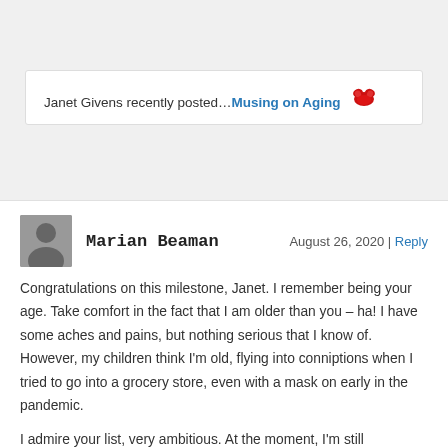Janet Givens recently posted…Musing on Aging 🔴
Marian Beaman
August 26, 2020 | Reply
Congratulations on this milestone, Janet. I remember being your age. Take comfort in the fact that I am older than you – ha! I have some aches and pains, but nothing serious that I know of. However, my children think I'm old, flying into conniptions when I tried to go into a grocery store, even with a mask on early in the pandemic.
I admire your list, very ambitious. At the moment, I'm still marketing Mennonite Daughter with a book signing with other authors on Saturday. Also, reading and reviewing books, sometimes feeding into my blog posts. I don't think hubs and I could keep up with an AirBnB, but fantastic that you can offer isolation in a getaway.
Here's to advancing in good health up the ladder of the 70s. I did send